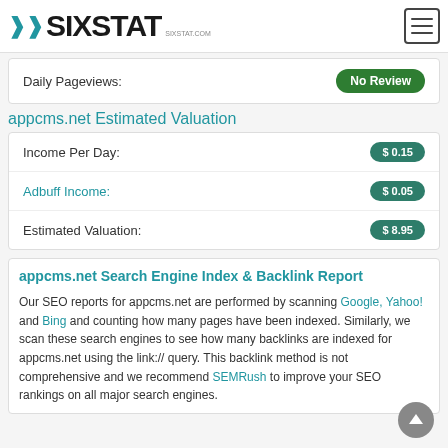SIXSTAT
Daily Pageviews: No Review
appcms.net Estimated Valuation
| Metric | Value |
| --- | --- |
| Income Per Day: | $ 0.15 |
| Adbuff Income: | $ 0.05 |
| Estimated Valuation: | $ 8.95 |
appcms.net Search Engine Index & Backlink Report
Our SEO reports for appcms.net are performed by scanning Google, Yahoo! and Bing and counting how many pages have been indexed. Similarly, we scan these search engines to see how many backlinks are indexed for appcms.net using the link:// query. This backlink method is not comprehensive and we recommend SEMRush to improve your SEO rankings on all major search engines.